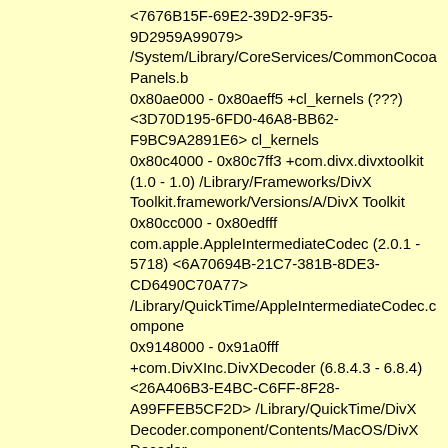<7676B15F-69E2-39D2-9F35-9D2959A99079> /System/Library/CoreServices/CommonCocoaPanels.bundle 0x80ae000 - 0x80aeff5 +cl_kernels (???) <3D70D195-6FD0-46A8-BB62-F9BC9A2891E6> cl_kernels 0x80c4000 - 0x80c7ff3 +com.divx.divxtoolkit (1.0 - 1.0) /Library/Frameworks/DivX Toolkit.framework/Versions/A/DivX Toolkit 0x80cc000 - 0x80edfff com.apple.AppleIntermediateCodec (2.0.1 - 5718) <6A70694B-21C7-381B-8DE3-CD6490C70A77> /Library/QuickTime/AppleIntermediateCodec.component 0x9148000 - 0x91a0fff +com.DivXInc.DivXDecoder (6.8.4.3 - 6.8.4) <26A406B3-E4BC-C6FF-8F28-A99FFEB5CF2D> /Library/QuickTime/DivX Decoder.component/Contents/MacOS/DivX Decoder 0x9366000 - 0x93a0fff com.apple.QuickTimeFireWireDV.component (7.7.1 - 2599.31) <586904D8-4781-392C-9AD5-C9F547E1C65D> /System/Library/QuickTime/QuickTimeFireWireDV.com